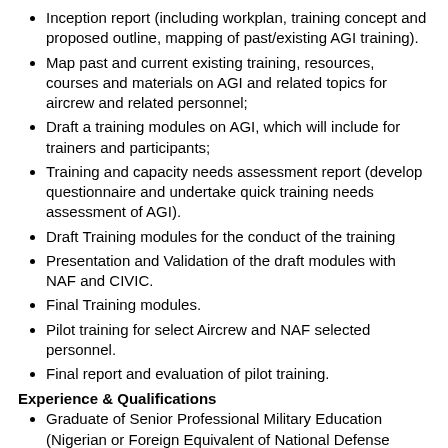Inception report (including workplan, training concept and proposed outline, mapping of past/existing AGI training).
Map past and current existing training, resources, courses and materials on AGI and related topics for aircrew and related personnel;
Draft a training modules on AGI, which will include for trainers and participants;
Training and capacity needs assessment report (develop questionnaire and undertake quick training needs assessment of AGI).
Draft Training modules for the conduct of the training
Presentation and Validation of the draft modules with NAF and CIVIC.
Final Training modules.
Pilot training for select Aircrew and NAF selected personnel.
Final report and evaluation of pilot training.
Experience & Qualifications
Graduate of Senior Professional Military Education (Nigerian or Foreign Equivalent of National Defense College or Service War College, such as Air Force War College Nigeria).
At least ten (10) years' experience in doctrine drafting, targeting processes, air to ground operations integration, to include practical operational experience and/or theoretical knowledge of target identification, target vetting, command, and control, and